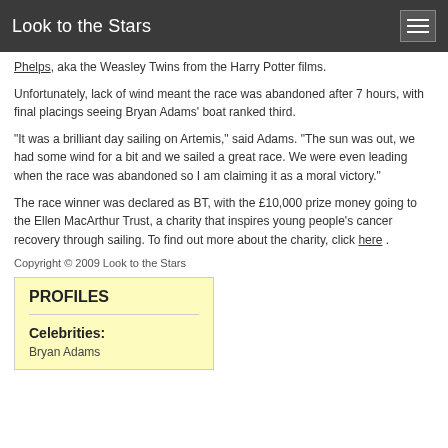Look to the Stars
Phelps, aka the Weasley Twins from the Harry Potter films.
Unfortunately, lack of wind meant the race was abandoned after 7 hours, with final placings seeing Bryan Adams' boat ranked third.
“It was a brilliant day sailing on Artemis,” said Adams. “The sun was out, we had some wind for a bit and we sailed a great race. We were even leading when the race was abandoned so I am claiming it as a moral victory.”
The race winner was declared as BT, with the £10,000 prize money going to the Ellen MacArthur Trust, a charity that inspires young people's cancer recovery through sailing. To find out more about the charity, click here .
Copyright © 2009 Look to the Stars
PROFILES
Celebrities:
Bryan Adams